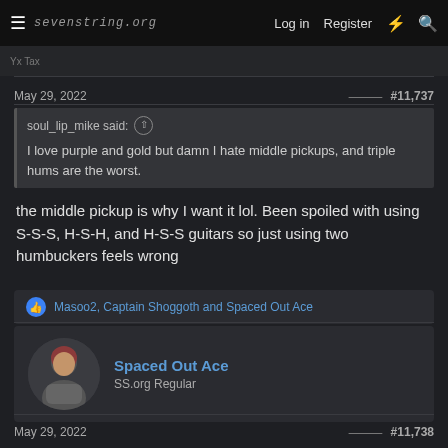sevenstring.org  Log in  Register
May 29, 2022  #11,737
soul_lip_mike said: ↑
I love purple and gold but damn I hate middle pickups, and triple hums are the worst.
the middle pickup is why I want it lol. Been spoiled with using S-S-S, H-S-H, and H-S-S guitars so just using two humbuckers feels wrong
Masoo2, Captain Shoggoth and Spaced Out Ace
Spaced Out Ace
SS.org Regular
May 29, 2022  #11,738